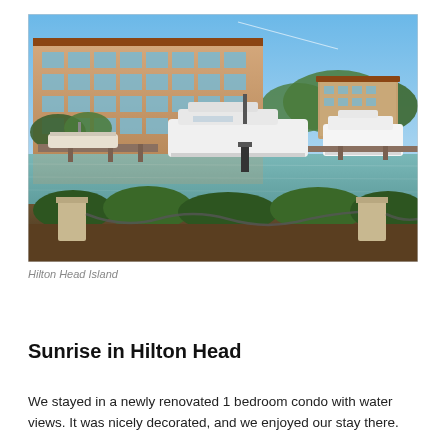[Figure (photo): Marina scene at Hilton Head Island showing boats docked at a waterfront, with multi-story residential/hotel buildings in the background, clear blue sky, and a landscaped foreground with shrubs, concrete pillars and decorative chains.]
Hilton Head Island
Sunrise in Hilton Head
We stayed in a newly renovated 1 bedroom condo with water views. It was nicely decorated, and we enjoyed our stay there.